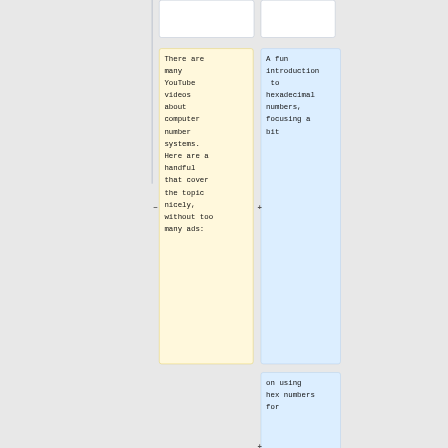There are many YouTube videos about computer number systems. Here are a handful that cover the topic nicely, without too many ads:
A fun introduction to hexadecimal numbers, focusing a bit
on using hex numbers for